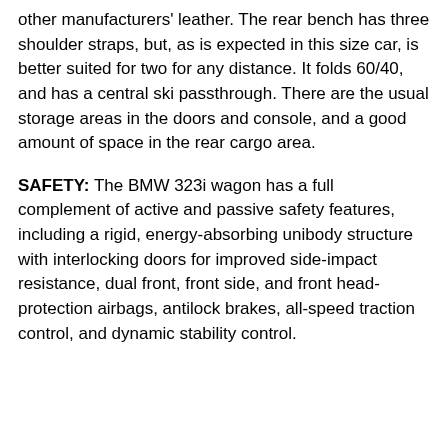other manufacturers' leather. The rear bench has three shoulder straps, but, as is expected in this size car, is better suited for two for any distance. It folds 60/40, and has a central ski passthrough. There are the usual storage areas in the doors and console, and a good amount of space in the rear cargo area.
SAFETY: The BMW 323i wagon has a full complement of active and passive safety features, including a rigid, energy-absorbing unibody structure with interlocking doors for improved side-impact resistance, dual front, front side, and front head-protection airbags, antilock brakes, all-speed traction control, and dynamic stability control.